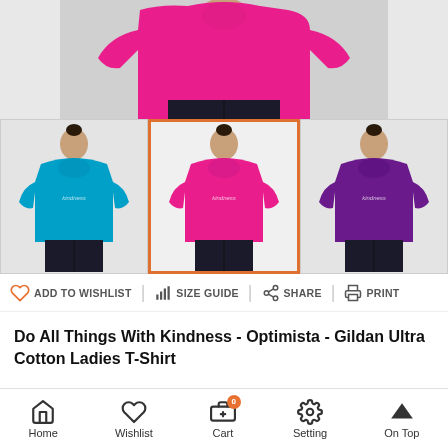[Figure (photo): Top section of e-commerce product page showing a woman wearing a pink t-shirt (torso and lower body visible), displayed against a light grey background.]
[Figure (photo): Three product thumbnail images side by side: left shows woman in blue t-shirt, center (selected, orange border) shows woman in pink t-shirt, right shows woman in purple t-shirt.]
ADD TO WISHLIST   SIZE GUIDE   SHARE   PRINT
Do All Things With Kindness - Optimista - Gildan Ultra Cotton Ladies T-Shirt
Home   Wishlist   Cart 0   Setting   On Top